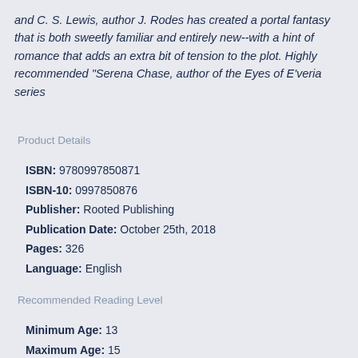and C. S. Lewis, author J. Rodes has created a portal fantasy that is both sweetly familiar and entirely new--with a hint of romance that adds an extra bit of tension to the plot. Highly recommended "Serena Chase, author of the Eyes of E'veria series
Product Details
ISBN: 9780997850871
ISBN-10: 0997850876
Publisher: Rooted Publishing
Publication Date: October 25th, 2018
Pages: 326
Language: English
Recommended Reading Level
Minimum Age: 13
Maximum Age: 15
Minimum Grade Level: 8
Maximum Grade Level: 10
Categories